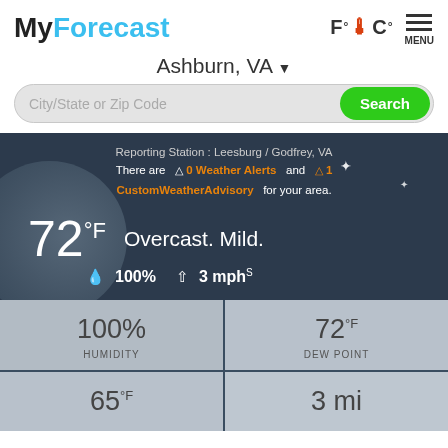MyForecast
Ashburn, VA
City/State or Zip Code  Search
Reporting Station : Leesburg / Godfrey, VA
There are 0 Weather Alerts and 1 CustomWeatherAdvisory for your area.
72°F  Overcast. Mild.  100%  3 mph S
| HUMIDITY | DEW POINT |
| --- | --- |
| 100% | 72°F |
| 65°F | 3 mi |